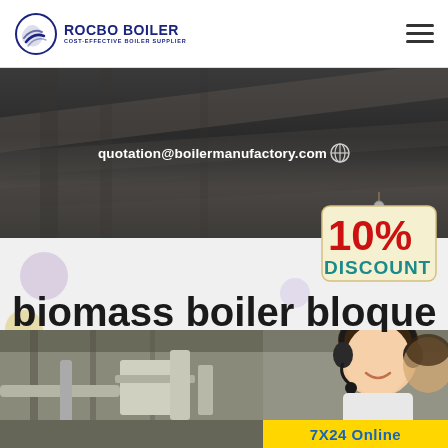ROCBO BOILER - COST-EFFECTIVE BOILER SUPPLIER
[Figure (screenshot): Dark industrial banner with email address quotation@boilermanufactory.com and globe icon]
quotation@boilermanufactory.com
[Figure (infographic): 10% DISCOUNT badge/tag hanging from string]
biomass boiler bloque
[Figure (photo): Industrial biomass boiler facility photo on left, customer service agent with headset on right]
7X24 Online